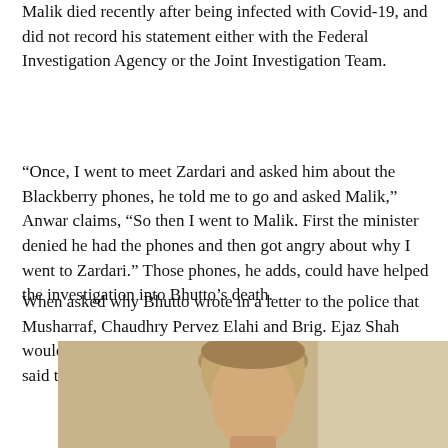Malik died recently after being infected with Covid-19, and did not record his statement either with the Federal Investigation Agency or the Joint Investigation Team.
“Once, I went to meet Zardari and asked him about the Blackberry phones, he told me to go and asked Malik,” Anwar claims, “So then I went to Malik. First the minister denied he had the phones and then got angry about why I went to Zardari.” Those phones, he adds, could have helped the investigation into Bhutto’s death.
When asked why Bhutto wrote in a letter to the police that Musharraf, Chaudhry Pervez Elahi and Brig. Ejaz Shah would be responsible if anything happened to her, Anwar said that there was no evidence to substantiate the claim.
[Figure (photo): Partial photograph of a person, showing the upper portion of their head with light brown/blonde hair, appearing to be a woman, with a blurred background.]